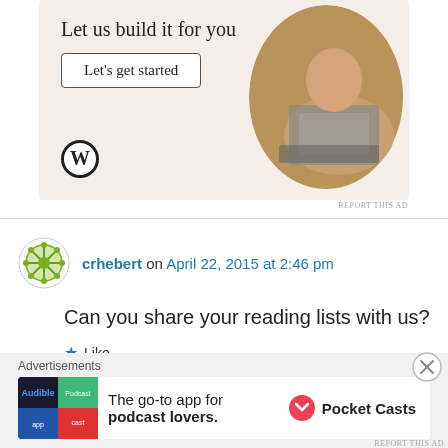[Figure (screenshot): WordPress advertisement banner with beige background showing 'Let us build it for you' text, 'Let's get started' button, WordPress logo, and circular image of person using laptop]
REPORT THIS AD
crhebert on April 22, 2015 at 2:46 pm
Can you share your reading lists with us?
Like
Reply
Advertisements
[Figure (screenshot): Pocket Casts advertisement: colorful app icon tiles on left, text 'The go-to app for podcast lovers.' with Pocket Casts logo]
REPORT THIS AD